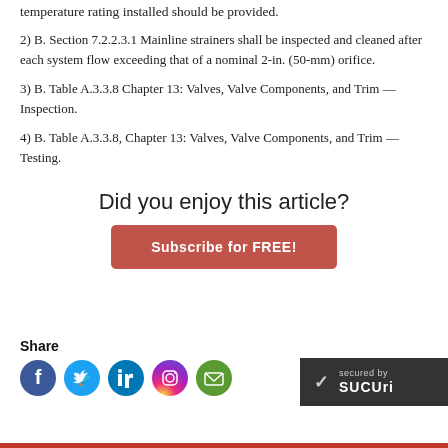temperature rating installed should be provided.
2) B. Section 7.2.2.3.1 Mainline strainers shall be inspected and cleaned after each system flow exceeding that of a nominal 2-in. (50-mm) orifice.
3) B. Table A.3.3.8 Chapter 13: Valves, Valve Components, and Trim — Inspection.
4) B. Table A.3.3.8, Chapter 13: Valves, Valve Components, and Trim — Testing.
Did you enjoy this article?
Subscribe for FREE!
Share
[Figure (other): Social share icons: Facebook, Twitter, LinkedIn, Instagram, Email]
[Figure (logo): Sucuri security badge: secured by Sucuri]